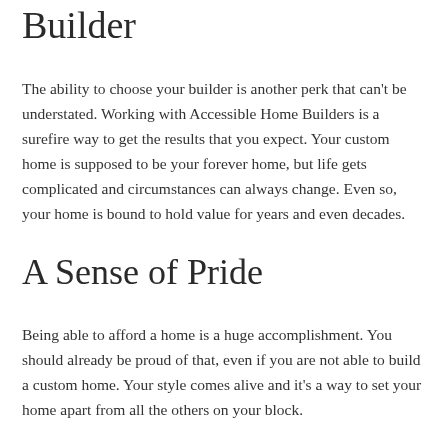Builder
The ability to choose your builder is another perk that can't be understated. Working with Accessible Home Builders is a surefire way to get the results that you expect. Your custom home is supposed to be your forever home, but life gets complicated and circumstances can always change. Even so, your home is bound to hold value for years and even decades.
A Sense of Pride
Being able to afford a home is a huge accomplishment. You should already be proud of that, even if you are not able to build a custom home. Your style comes alive and it's a way to set your home apart from all the others on your block.
Contact Accessible Home